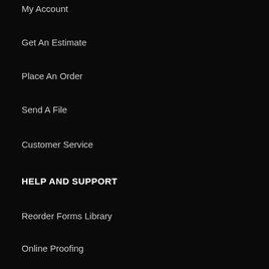My Account
Get An Estimate
Place An Order
Send A File
Customer Service
HELP AND SUPPORT
Reorder Forms Library
Online Proofing
UDesignIT!
Terms & Conditions
CONNECT
Facebook
Linkedin
HI-TECH COLOR
1115 W. Grove Street
Boise, ID 83702
More place contact info...